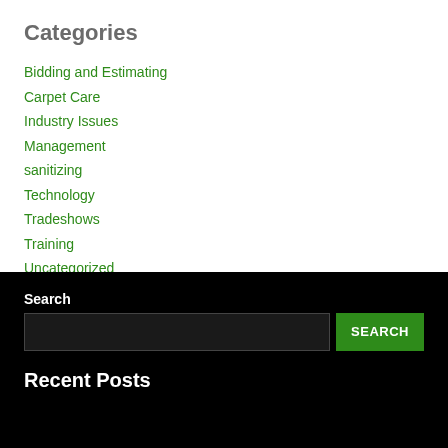Categories
Bidding and Estimating
Carpet Care
Industry Issues
Management
sanitizing
Technology
Tradeshows
Training
Uncategorized
Search
Recent Posts